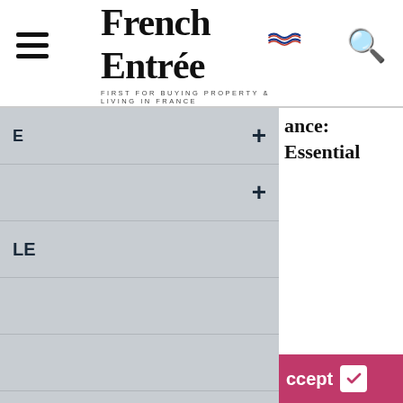French Entrée — FIRST FOR BUYING PROPERTY & LIVING IN FRANCE
LE
ance: Essential
Vaginally
or administration and ons you may wish to res such as .
ccept